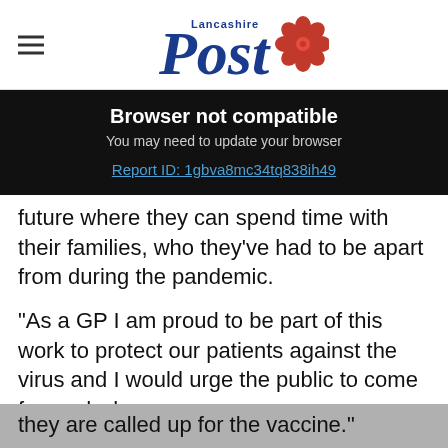Lancashire Post
Browser not compatible
You may need to update your browser
Report ID: 1gbva8mc34tq838ih49
future where they can spend time with their families, who they've had to be apart from during the pandemic.
"As a GP I am proud to be part of this work to protect our patients against the virus and I would urge the public to come forward when they are called up for the vaccine."